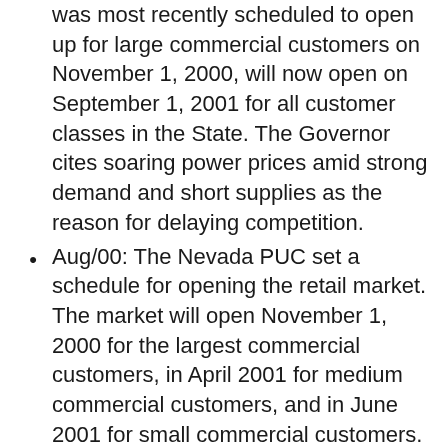was most recently scheduled to open up for large commercial customers on November 1, 2000, will now open on September 1, 2001 for all customer classes in the State. The Governor cites soaring power prices amid strong demand and short supplies as the reason for delaying competition.
Aug/00: The Nevada PUC set a schedule for opening the retail market. The market will open November 1, 2000 for the largest commercial customers, in April 2001 for medium commercial customers, and in June 2001 for small commercial customers. Residential customers will be phased in from September 1 through December 31, 2001.
June/99: AB 366 delays the opening of the retail market to 3/00, and gives the Governor, rather than the PUC, the authority to select another date if he deems it in the best interest of consumers
April/99: The Senate committee approved a bill that